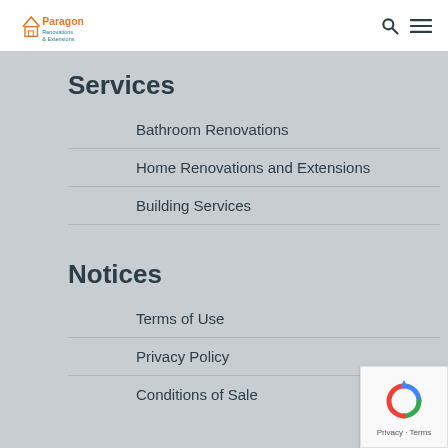Paragon [logo with search and menu icons]
Services
Bathroom Renovations
Home Renovations and Extensions
Building Services
Notices
Terms of Use
Privacy Policy
Conditions of Sale